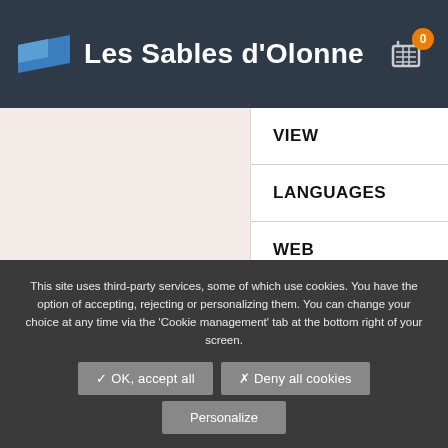Les Sables d'Olonne
VIEW
LANGUAGES
WEB
DISTRICT
This site uses third-party services, some of which use cookies. You have the option of accepting, rejecting or personalizing them. You can change your choice at any time via the 'Cookie management' tab at the bottom right of your screen.
✓ OK, accept all
✗ Deny all cookies
Personalize